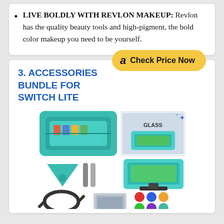LIVE BOLDLY WITH REVLON MAKEUP: Revlon has the quality beauty tools and high-pigment, the bold color makeup you need to be yourself.
[Figure (other): Amazon 'Check Price Now' button in gold/yellow color with Amazon logo]
3. ACCESSORIES BUNDLE FOR SWITCH LITE
[Figure (photo): Product photo collage of Nintendo Switch Lite accessories bundle including carrying case (teal), screen protector, thumb grips, stand, cable, and game card holder]